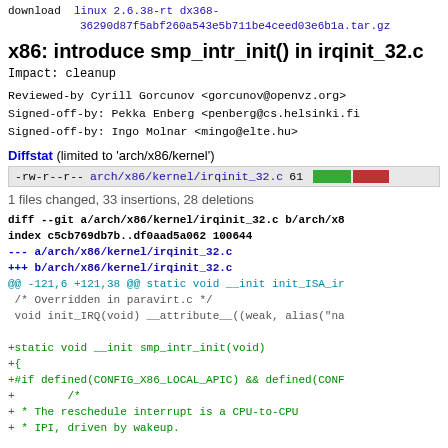download  linux 2.6.38-rt dx368-36290d87f5abf260a543e5b711be4ceed03e6b1a.tar.gz
x86: introduce smp_intr_init() in irqinit_32.c
Impact: cleanup
Reviewed-by Cyrill Gorcunov <gorcunov@openvz.org>
Signed-off-by: Pekka Enberg <penberg@cs.helsinki.fi>
Signed-off-by: Ingo Molnar <mingo@elte.hu>
Diffstat (limited to 'arch/x86/kernel')
| mode | file | lines | bar |
| --- | --- | --- | --- |
| -rw-r--r-- | arch/x86/kernel/irqinit_32.c | 61 | [bar] |
1 files changed, 33 insertions, 28 deletions
diff --git a/arch/x86/kernel/irqinit_32.c b/arch/x86/kernel/irqinit_32.c
index c5cb769db7b..df0aad5a062 100644
--- a/arch/x86/kernel/irqinit_32.c
+++ b/arch/x86/kernel/irqinit_32.c
@@ -121,6 +121,38 @@ static void __init init_ISA_ir
 /* Overridden in paravirt.c */
 void init_IRQ(void) __attribute__((weak, alias("na

+static void __init smp_intr_init(void)
+{
+#if defined(CONFIG_X86_LOCAL_APIC) && defined(CONF
+        /*
+ * The reschedule interrupt is a CPU-to-CPU
+ * IPI, driven by wakeup.